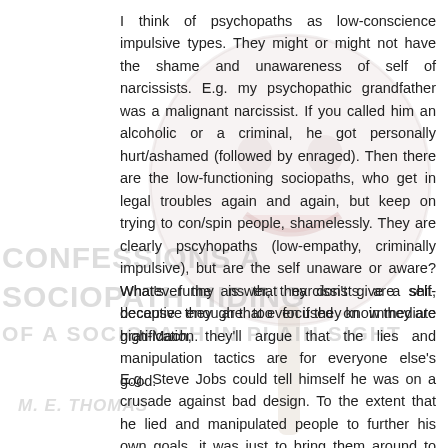I think of psychopaths as low-conscience impulsive types. They might or might not have the shame and unawareness of self of narcissists. E.g. my psychopathic grandfather was a malignant narcissist. If you called him an alcoholic or a criminal, he got personally hurt/ashamed (followed by enraged). Then there are the low-functioning sociopaths, who get in legal troubles again and again, but keep on trying to con/spin people, shamelessly. They are clearly pscyhopaths (low-empathy, criminally impulsive), but are the self unaware or aware? Whatever the answer, they don't give a shit, because they are too focused on immediate gratification.
What's funny is that narcissists are self-deceptive enough that even if they know they are high-Mach, they'll argue that the lies and manipulation tactics are for everyone else's good.
E.g. Steve Jobs could tell himself he was on a crusade against bad design. To the extent that he lied and manipulated people to further his own goals, it was just to bring them around to good design.